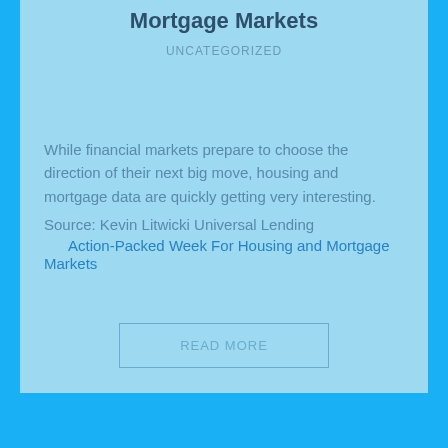Mortgage Markets
UNCATEGORIZED
While financial markets prepare to choose the direction of their next big move, housing and mortgage data are quickly getting very interesting.
Source: Kevin Litwicki Universal Lending
Action-Packed Week For Housing and Mortgage Markets